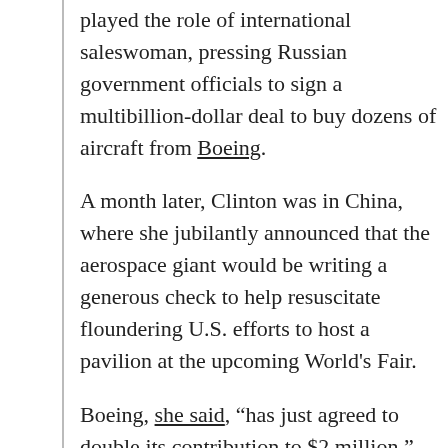played the role of international saleswoman, pressing Russian government officials to sign a multibillion-dollar deal to buy dozens of aircraft from Boeing.
A month later, Clinton was in China, where she jubilantly announced that the aerospace giant would be writing a generous check to help resuscitate floundering U.S. efforts to host a pavilion at the upcoming World's Fair.
Boeing, she said, “has just agreed to double its contribution to $2 million.”
Clinton did not point out that, to secure the donation, the State Department had set aside ethics guidelines that first prohibited solicitations of Boeing and then later